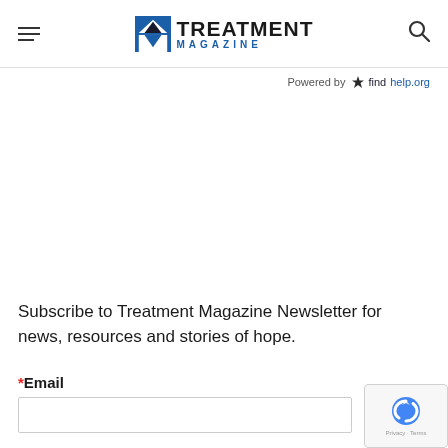Treatment Magazine
Powered by ✳ findhelp.org
Subscribe to Treatment Magazine Newsletter for news, resources and stories of hope.
* Email